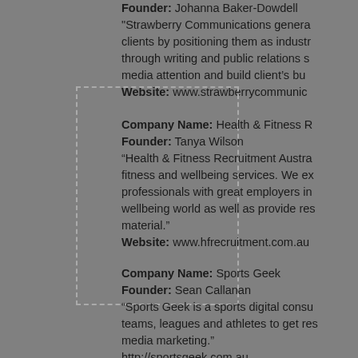Founder: Johanna Baker-Dowdell
"Strawberry Communications genera clients by positioning them as industr through writing and public relations s media attention and build client's bu Website: www.strawberrycommunic
Company Name: Health & Fitness R
Founder: Tanya Wilson
"Health & Fitness Recruitment Austra fitness and wellbeing services. We ex professionals with great employers in wellbeing world as well as provide res material."
Website: www.hfrecruitment.com.au
Company Name: Sports Geek
Founder: Sean Callanan
"Sports Geek is a sports digital consu teams, leagues and athletes to get res media marketing."
http://sportsgeek.com.au